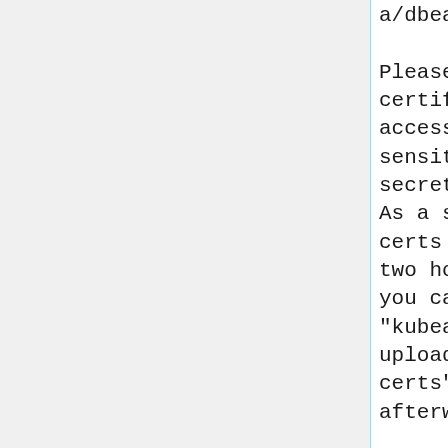a/dbea8c50522416fc30be35a8cfd2b...

Please note that the
certificate-key gives
access to cluster
sensitive data, keep it
secret!
As a safeguard, uploaded-
certs will be deleted in
two hours; If necessary,
you can use
"kubeadm init phase
upload-certs --upload-
certs" to reload certs
afterward.

Then you can join any
number of worker nodes by
running the following on
each as root:

kubeadm join
192.168.179.52:6443 --
token
21sx8f.t536gdy7uzhk5o2o \